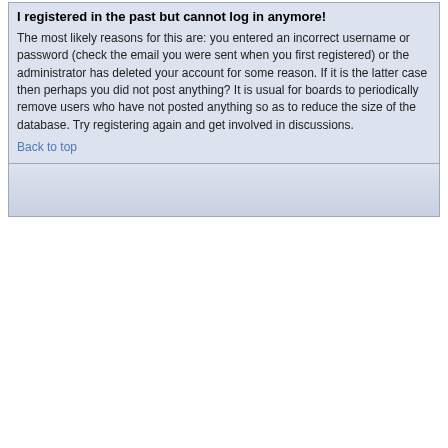I registered in the past but cannot log in anymore!
The most likely reasons for this are: you entered an incorrect username or password (check the email you were sent when you first registered) or the administrator has deleted your account for some reason. If it is the latter case then perhaps you did not post anything? It is usual for boards to periodically remove users who have not posted anything so as to reduce the size of the database. Try registering again and get involved in discussions.
Back to top